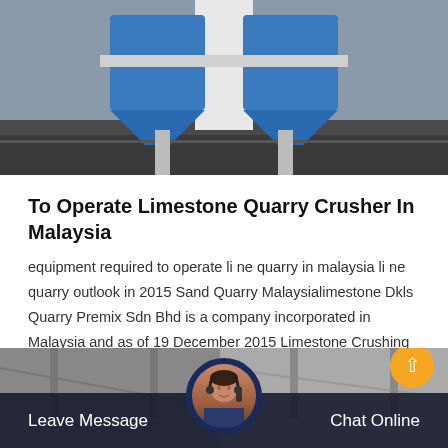[Figure (photo): Industrial quarry crusher machine with blue hopper/chute components on dark ground, viewed from below]
To Operate Limestone Quarry Crusher In Malaysia
equipment required to operate li ne quarry in malaysia li ne quarry outlook in 2015 Sand Quarry Malaysialimestone Dkls Quarry Premix Sdn Bhd is a company incorporated in Malaysia and as of 19 December 2015 Limestone Crushing Line in
[Figure (screenshot): Orange 'Get Price' button]
[Figure (photo): Bottom banner with dark overlay showing 'Leave Message' and 'Chat Online' text, with a customer service representative avatar in the center and a scroll-up button on the right]